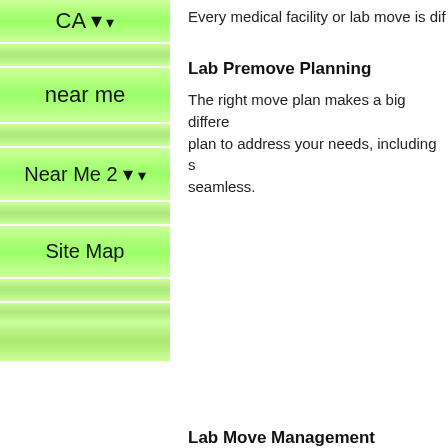CA ▾
near me
Near Me 2 ▾
Site Map
Every medical facility or lab move is dif
Lab Premove Planning
The right move plan makes a big difference. plan to address your needs, including s seamless.
Lab Move Management
Whether you are moving a small lab or